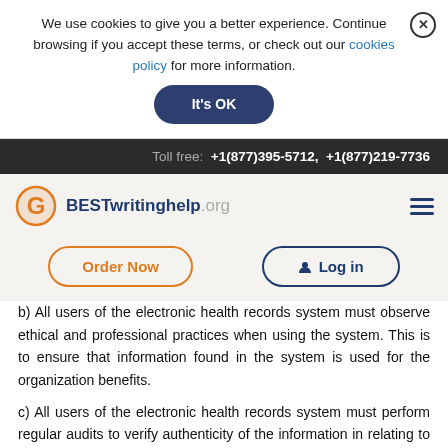We use cookies to give you a better experience. Continue browsing if you accept these terms, or check out our cookies policy for more information.
It's OK
Toll free: +1(877)395-5712, +1(877)219-7736
[Figure (logo): BESTwritinghelp.org logo with orange circular G icon]
Order Now
Log in
b) All users of the electronic health records system must observe ethical and professional practices when using the system. This is to ensure that information found in the system is used for the organization benefits.
c) All users of the electronic health records system must perform regular audits to verify authenticity of the information in relating to decision making process.
d) All users of the electronic health records system must deploy